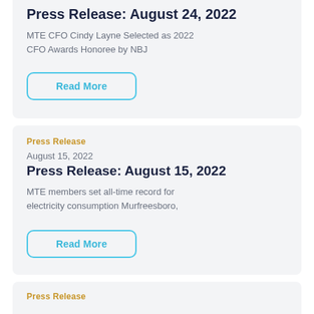Press Release: August 24, 2022
MTE CFO Cindy Layne Selected as 2022 CFO Awards Honoree by NBJ
Read More
Press Release
August 15, 2022
Press Release: August 15, 2022
MTE members set all-time record for electricity consumption Murfreesboro,
Read More
Press Release